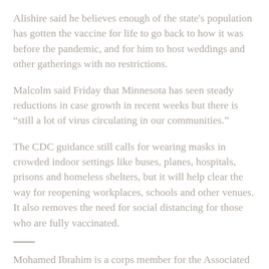Alishire said he believes enough of the state's population has gotten the vaccine for life to go back to how it was before the pandemic, and for him to host weddings and other gatherings with no restrictions.
Malcolm said Friday that Minnesota has seen steady reductions in case growth in recent weeks but there is “still a lot of virus circulating in our communities.”
The CDC guidance still calls for wearing masks in crowded indoor settings like buses, planes, hospitals, prisons and homeless shelters, but it will help clear the way for reopening workplaces, schools and other venues. It also removes the need for social distancing for those who are fully vaccinated.
Mohamed Ibrahim is a corps member for the Associated Press/Report for America Statehouse News Initiative. Report for America is a nonprofit national service...